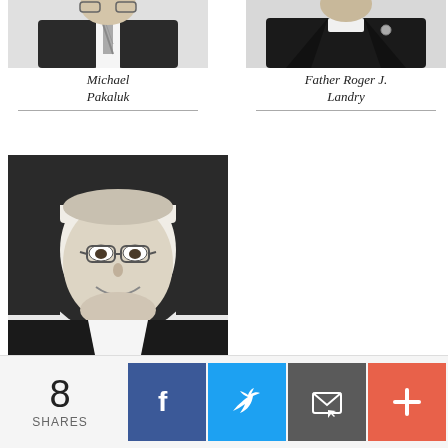[Figure (illustration): Black and white illustrated portrait of Michael Pakaluk, a man in a suit and tie]
Michael Pakaluk
[Figure (illustration): Black and white illustrated portrait of Father Roger J. Landry, a priest in clerical collar]
Father Roger J. Landry
[Figure (illustration): Black and white illustrated portrait of Sister Constance Veit, Lsp, a nun wearing a habit and glasses]
Sister Constance Veit, Lsp
8 SHARES